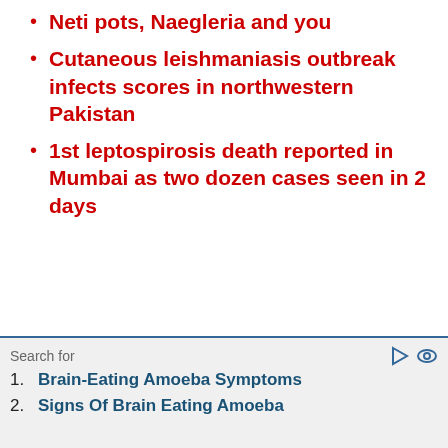Neti pots, Naegleria and you
Cutaneous leishmaniasis outbreak infects scores in northwestern Pakistan
1st leptospirosis death reported in Mumbai as two dozen cases seen in 2 days
Brain-Eating Amoeba Symptoms
Signs Of Brain Eating Amoeba